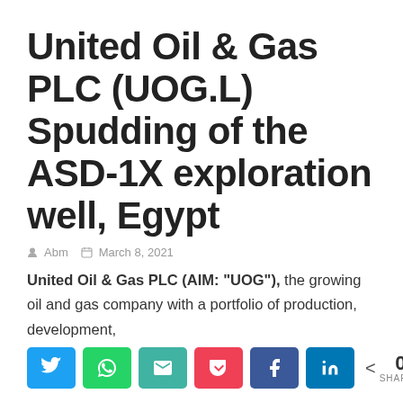United Oil & Gas PLC (UOG.L) Spudding of the ASD-1X exploration well, Egypt
Abm   March 8, 2021
United Oil & Gas PLC (AIM: "UOG"), the growing oil and gas company with a portfolio of production, development,